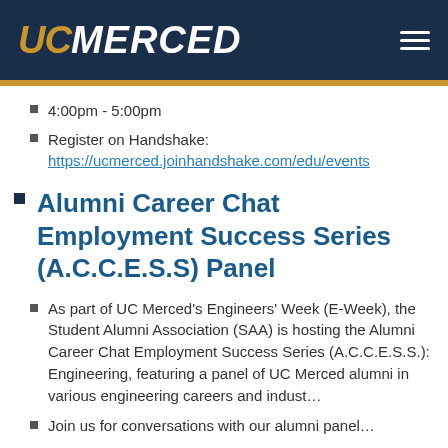UC MERCED
4:00pm - 5:00pm
Register on Handshake: https://ucmerced.joinhandshake.com/edu/events
Alumni Career Chat Employment Success Series (A.C.C.E.S.S) Panel
As part of UC Merced's Engineers' Week (E-Week), the Student Alumni Association (SAA) is hosting the Alumni Career Chat Employment Success Series (A.C.C.E.S.S.): Engineering, featuring a panel of UC Merced alumni in various engineering careers and industries.
Join us for conversations with our alumni panel...